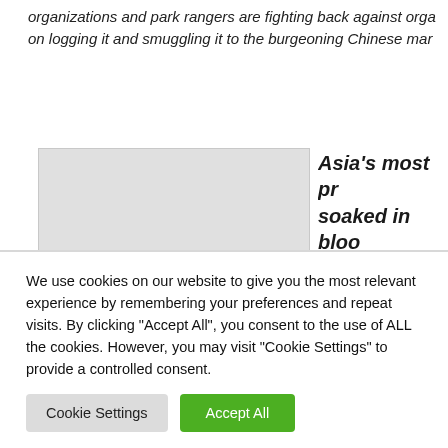organizations and park rangers are fighting back against organizations who are intent on logging it and smuggling it to the burgeoning Chinese market.
[Figure (photo): A photograph placeholder (light gray rectangle) associated with a rosewood article]
Asia's most precious wood soaked in blood
By Michael Spencer, Foundation, Published ...
Wild rosewood, famous in China and Japan for its unique properties...
We use cookies on our website to give you the most relevant experience by remembering your preferences and repeat visits. By clicking "Accept All", you consent to the use of ALL the cookies. However, you may visit "Cookie Settings" to provide a controlled consent.